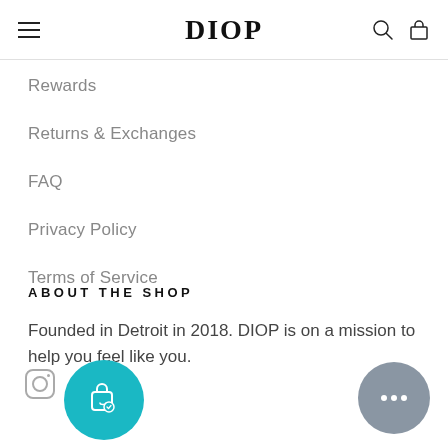DIOP
Rewards
Returns & Exchanges
FAQ
Privacy Policy
Terms of Service
ABOUT THE SHOP
Founded in Detroit in 2018. DIOP is on a mission to help you feel like you.
[Figure (other): Instagram icon, teal loyalty/bag button, and grey chat button]
[Figure (other): Grey chat bubble button with ellipsis]